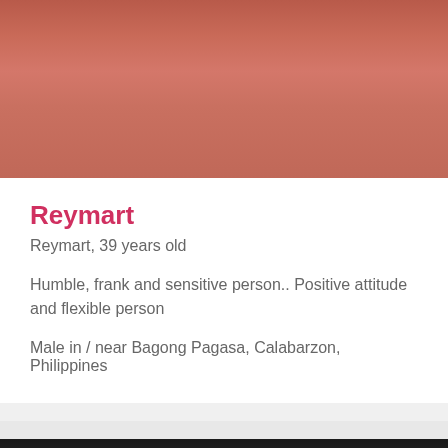[Figure (photo): Photo of Reymart, a man in a red/salmon colored long-sleeve shirt with a necklace, upper body visible, head at top of frame]
Reymart
Reymart, 39 years old
Humble, frank and sensitive person.. Positive attitude and flexible person
Male in / near Bagong Pagasa, Calabarzon, Philippines
[Figure (photo): Partial photo of another person, showing forehead, eyes, and dark hair, cropped at bottom of page]